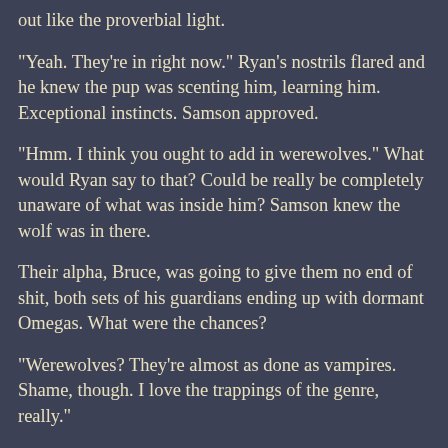out like the proverbial light.
“Yeah. They’re in right now.” Ryan’s nostrils flared and he knew the pup was scenting him, learning him. Exceptional instincts. Samson approved.
“Hmm. I think you ought to add in werewolves.” What would Ryan say to that? Could be really be completely unaware of what was inside him? Samson knew the wolf was in there.
Their alpha, Bruce, was going to give them no end of shit, both sets of his guardians ending up with dormant Omegas. What were the chances?
“Werewolves? They’re almost as done as vampires. Shame, though. I love the trappings of the genre, really.”
“What’s your favorite part?” This was fascinating. It was like seeing himself through someone else’s eyes for the first time. Seeing a werewolf movie with someone who didn’t watch horror…